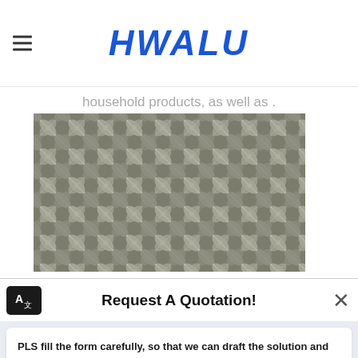HWALU
household products, as well as .
[Figure (photo): Close-up photo of diamond-pattern aluminum tread plate surface with raised criss-cross ridges]
Request A Quotation!
PLS fill the form carefully, so that we can draft the solution and quote the price to you quickly.
Name*
E-mail*